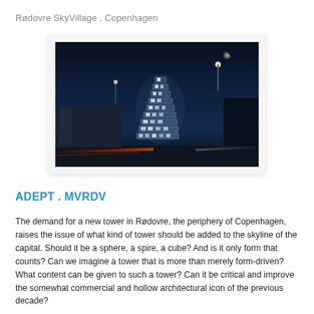Rødovre SkyVillage . Copenhagen
[Figure (photo): Night photograph of the Rødovre SkyVillage tower concept, showing an illuminated stacked modular tower structure against a dark blue night sky, with light trails from traffic on the street below and surrounding urban buildings.]
ADEPT . MVRDV
The demand for a new tower in Rødovre, the periphery of Copenhagen, raises the issue of what kind of tower should be added to the skyline of the capital. Should it be a sphere, a spire, a cube? And is it only form that counts? Can we imagine a tower that is more than merely form-driven? What content can be given to such a tower? Can it be critical and improve the somewhat commercial and hollow architectural icon of the previous decade?